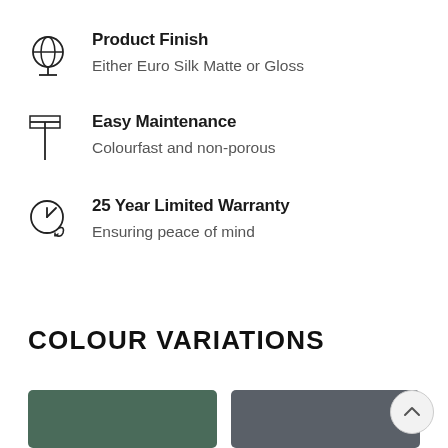Product Finish
Either Euro Silk Matte or Gloss
Easy Maintenance
Colourfast and non-porous
25 Year Limited Warranty
Ensuring peace of mind
COLOUR VARIATIONS
[Figure (photo): Two colour swatches partially visible at the bottom of the page — one green/teal on the left and one dark grey/slate on the right]